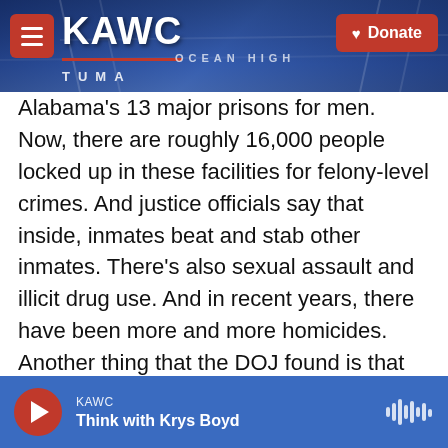KAWC — Donate
Alabama's 13 major prisons for men. Now, there are roughly 16,000 people locked up in these facilities for felony-level crimes. And justice officials say that inside, inmates beat and stab other inmates. There's also sexual assault and illicit drug use. And in recent years, there have been more and more homicides. Another thing that the DOJ found is that correctional officers frequently use excessive force and abuse incarcerated men out of retribution or to inflict pain. Now, in response, Alabama prison officials have said that they're working to address these concerns, and they've said that the Department of Justice is ignoring their
KAWC — Think with Krys Boyd